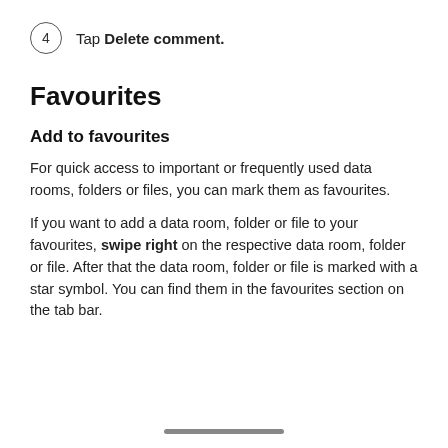4  Tap Delete comment.
Favourites
Add to favourites
For quick access to important or frequently used data rooms, folders or files, you can mark them as favourites.
If you want to add a data room, folder or file to your favourites, swipe right on the respective data room, folder or file. After that the data room, folder or file is marked with a star symbol. You can find them in the favourites section on the tab bar.